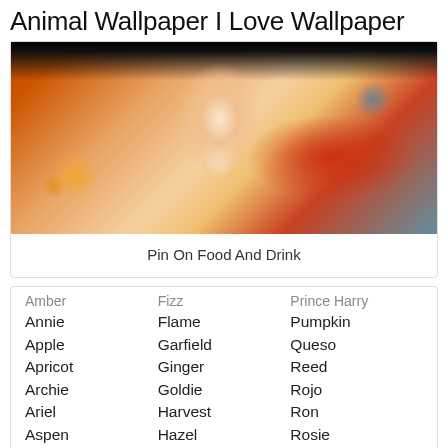Animal Wallpaper I Love Wallpaper
[Figure (photo): Close-up photo of an orange tabby cat's chest/belly fur, with a blurred red and bokeh background]
Pin On Food And Drink
Amber
Fizz
Prince Harry
Annie
Flame
Pumpkin
Apple
Garfield
Queso
Apricot
Ginger
Reed
Archie
Goldie
Rojo
Ariel
Harvest
Ron
Aspen
Hazel
Rosie
Autumn
Heathcliff
Rowan
Blaze
Hobbes
Ruby